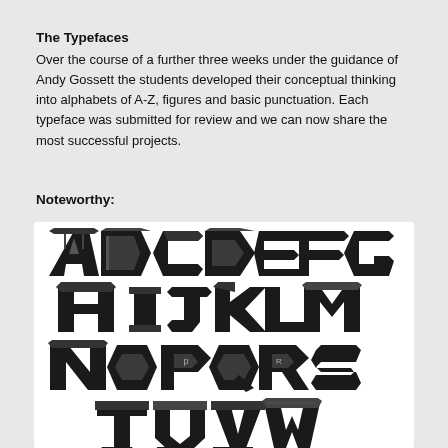The Typefaces
Over the course of a further three weeks under the guidance of Andy Gossett the students developed their conceptual thinking into alphabets of A-Z, figures and basic punctuation. Each typeface was submitted for review and we can now share the most successful projects.
Noteworthy:
[Figure (illustration): Custom decorative typeface showing letters A through W (partial) rendered in a bold geometric hexagonal/arrow style with dark faceted 3D appearance, arranged in rows: A B C D E F G / H I J K L M / N O P Q R S / T U V W (partial)]